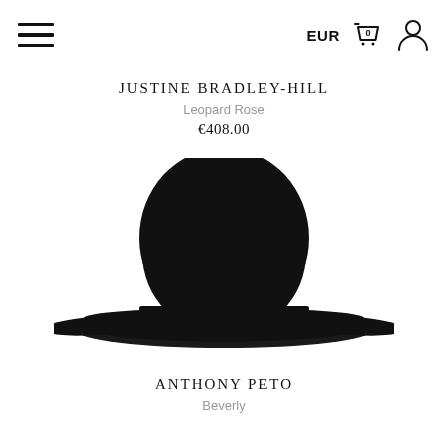EUR [cart] [user]
JUSTINE BRADLEY-HILL
Leopard Rose
€408.00
[Figure (photo): Black bowler/round-crown felt hat photographed from the side on white background]
ANTHONY PETO
Beverly